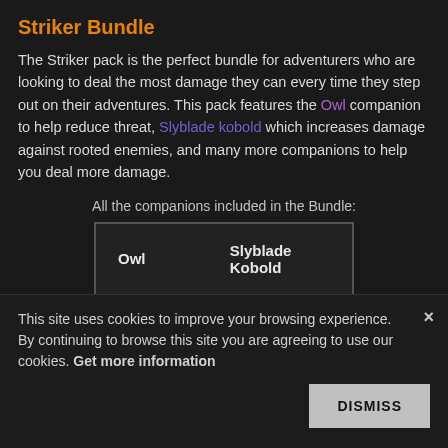Striker Bundle
The Striker pack is the perfect bundle for adventurers who are looking to deal the most damage they can every time they step out on their adventures. This pack features the Owl companion to help reduce threat, Slyblade kobold which increases damage against rooted enemies, and many more companions to help you deal more damage.
All the companions included in the Bundle:
| Owl | Slyblade Kobold |
| Tomb Spider | Ioun Stone of Allure |
This site uses cookies to improve your browsing experience. By continuing to browse this site you are agreeing to use our cookies. Get more information
DISMISS